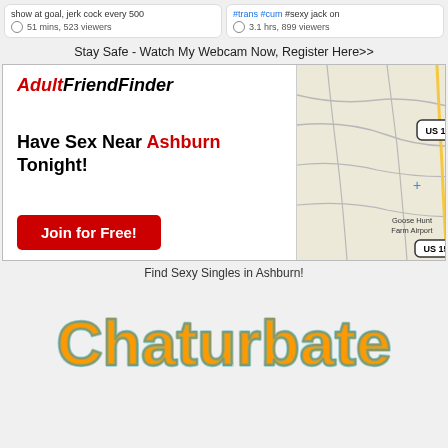show at goal, jerk cock every 500
51 mins, 523 viewers
#trans #cum #sexy jack on
3.1 hrs, 899 viewers
Stay Safe - Watch My Webcam Now, Register Here>>
[Figure (infographic): AdultFriendFinder advertisement with logo, headline 'Have Sex Near Ashburn Tonight!', red Join for Free button, and a map of the Ashburn area showing US 15 route and Goose Hunt Farm Airport]
Find Sexy Singles in Ashburn!
[Figure (logo): Chaturbate logo in orange and teal cursive text]